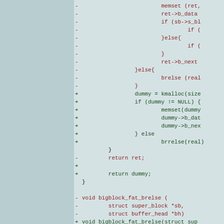[Figure (screenshot): Code diff showing changes to bigblock filesystem functions in a C source file. Lines starting with '-' are removed (shown in dark red), lines starting with '+' are added (shown in dark green), and neutral lines show context. The diff includes changes to memory allocation using dummy/kmalloc instead of ret, and a function signature change for bigblock_fat_brelse.]